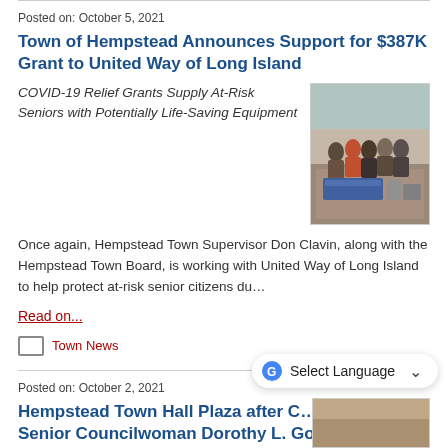Posted on: October 5, 2021
Town of Hempstead Announces Support for $387K Grant to United Way of Long Island
COVID-19 Relief Grants Supply At-Risk Seniors with Potentially Life-Saving Equipment
[Figure (photo): Group of people standing at an outdoor event with a United Way banner and equipment]
Once again, Hempstead Town Supervisor Don Clavin, along with the Hempstead Town Board, is working with United Way of Long Island to help protect at-risk senior citizens du...
Read on...
Town News
Posted on: October 2, 2021
Hempstead Town Hall Plaza after C... Senior Councilwoman Dorothy L. Goosby
[Figure (photo): Partial photo visible at bottom of page]